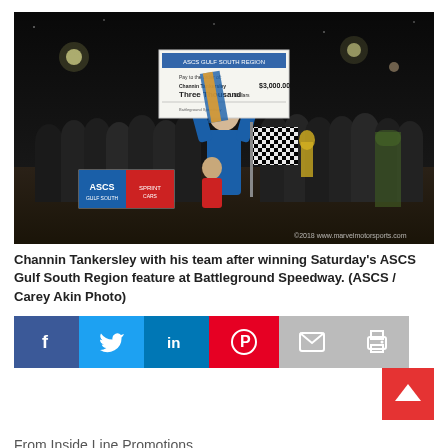[Figure (photo): Channin Tankersley celebrating with his team at night after winning the ASCS Gulf South Region feature at Battleground Speedway. He is holding a large ceremonial check and a checkered flag surrounded by his team. Watermark reads ©2018 www.marvelmotorsports.com]
Channin Tankersley with his team after winning Saturday's ASCS Gulf South Region feature at Battleground Speedway. (ASCS / Carey Akin Photo)
[Figure (infographic): Social media sharing bar with buttons for Facebook, Twitter, LinkedIn, Pinterest, Email, and Print. A red scroll-to-top arrow button appears at the bottom right.]
From Inside Line Promotions